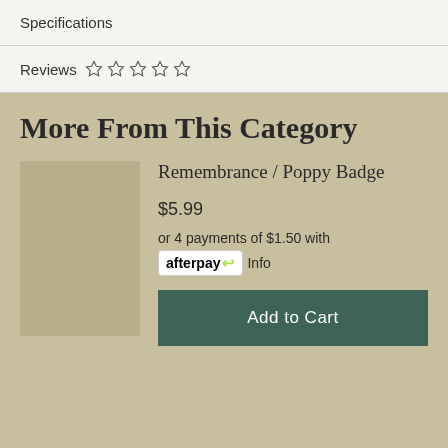Specifications
Reviews ☆ ☆ ☆ ☆ ☆
More From This Category
Remembrance / Poppy Badge
$5.99
or 4 payments of $1.50 with afterpay Info
Add to Cart